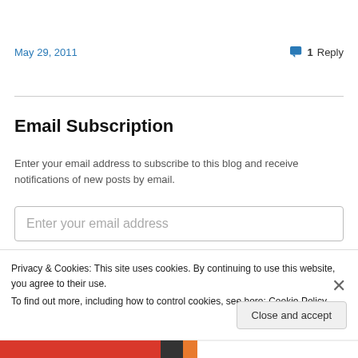May 29, 2011
💬 1 Reply
Email Subscription
Enter your email address to subscribe to this blog and receive notifications of new posts by email.
Enter your email address
Privacy & Cookies: This site uses cookies. By continuing to use this website, you agree to their use.
To find out more, including how to control cookies, see here: Cookie Policy
Close and accept